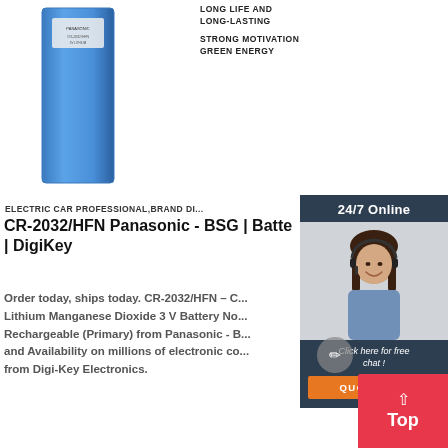[Figure (photo): Blue rectangular battery product image]
LONG LIFE AND LONG-LASTING
STRONG MOTIVATION GREEN ENERGY
ELECTRIC CAR PROFESSIONAL,BRAND DI...
CR-2032/HFN Panasonic - BSG | Batte... | DigiKey
Order today, ships today. CR-2032/HFN – C... Lithium Manganese Dioxide 3 V Battery No... Rechargeable (Primary) from Panasonic - B... and Availability on millions of electronic co... from Digi-Key Electronics.
[Figure (photo): 24/7 Online chat widget with customer service representative photo, Click here for free chat!, QUOTATION button]
[Figure (other): Top scroll-to-top button with up arrow and 'Top' text in red/orange]